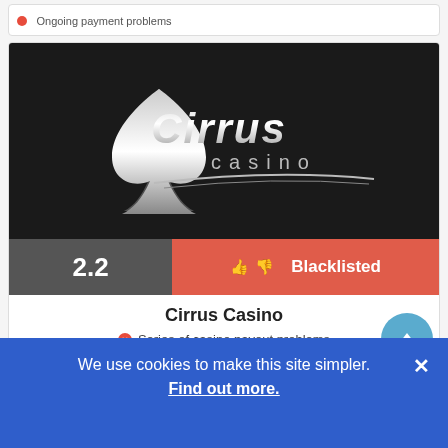Ongoing payment problems
[Figure (logo): Cirrus Casino logo on dark background — stylized spade card suit with 'Cirrus casino' text in silver/chrome lettering]
2.2
Blacklisted
Cirrus Casino
Series of casino payout problems
We use cookies to make this site simpler. Find out more.